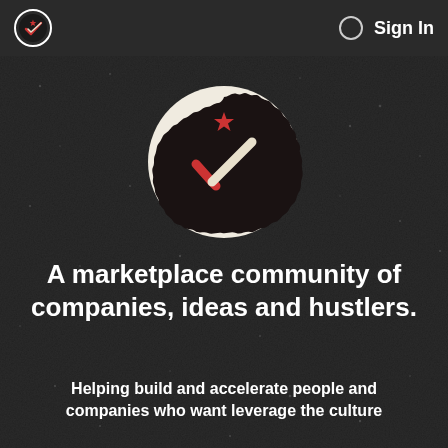[Figure (logo): App header bar with logo icon on the left and Sign In text with circle icon on the right, dark gray background]
Sign In
[Figure (logo): Central badge logo: circular white border containing dark scalloped badge shape with a red star at top and a checkmark/V shape in red and cream/white on dark background]
A marketplace community of companies, ideas and hustlers.
Helping build and accelerate people and companies who want leverage the culture